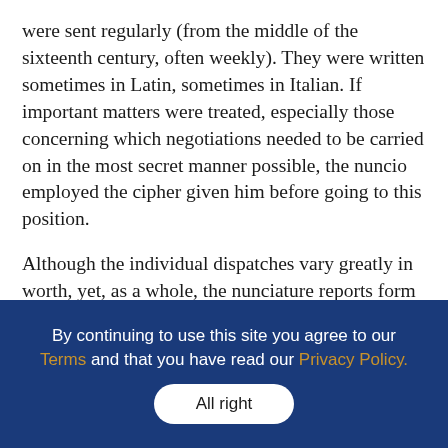were sent regularly (from the middle of the sixteenth century, often weekly). They were written sometimes in Latin, sometimes in Italian. If important matters were treated, especially those concerning which negotiations needed to be carried on in the most secret manner possible, the nuncio employed the cipher given him before going to this position.
Although the individual dispatches vary greatly in worth, yet, as a whole, the nunciature reports form a very important source from the sixteenth century (especially during the sixteenth and seventeenth centuries) both for the history of the Church and for political history. Only a very small proportion either of
By continuing to use this site you agree to our Terms and that you have read our Privacy Policy. All right